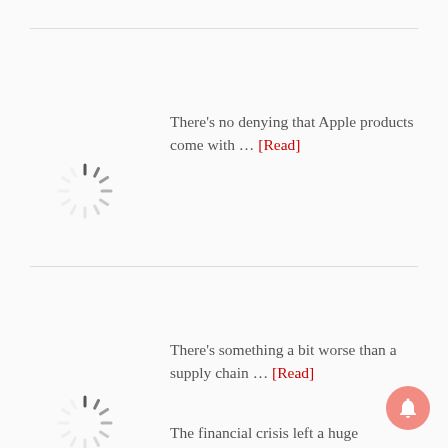There's no denying that Apple products come with … [Read]
[Figure (other): Loading spinner (animated circle indicator)]
There's something a bit worse than a supply chain … [Read]
[Figure (other): Loading spinner (animated circle indicator)]
The financial crisis left a huge